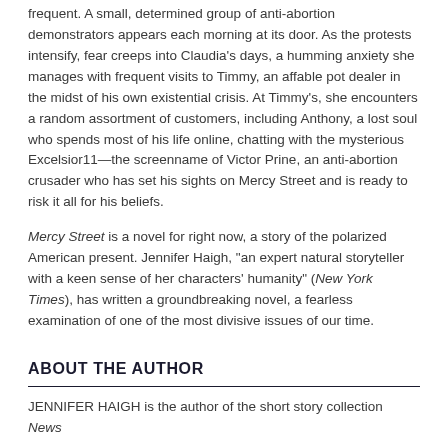frequent. A small, determined group of anti-abortion demonstrators appears each morning at its door. As the protests intensify, fear creeps into Claudia's days, a humming anxiety she manages with frequent visits to Timmy, an affable pot dealer in the midst of his own existential crisis. At Timmy's, she encounters a random assortment of customers, including Anthony, a lost soul who spends most of his life online, chatting with the mysterious Excelsior11—the screenname of Victor Prine, an anti-abortion crusader who has set his sights on Mercy Street and is ready to risk it all for his beliefs.
Mercy Street is a novel for right now, a story of the polarized American present. Jennifer Haigh, "an expert natural storyteller with a keen sense of her characters' humanity" (New York Times), has written a groundbreaking novel, a fearless examination of one of the most divisive issues of our time.
ABOUT THE AUTHOR
JENNIFER HAIGH is the author of the short story collection News